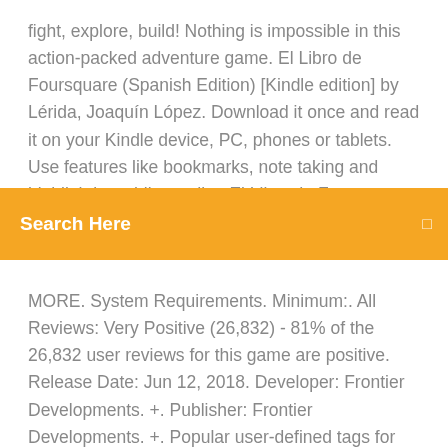fight, explore, build! Nothing is impossible in this action-packed adventure game. El Libro de Foursquare (Spanish Edition) [Kindle edition] by Lérida, Joaquín López. Download it once and read it on your Kindle device, PC, phones or tablets. Use features like bookmarks, note taking and highlighting while reading El Libro de Foursquare (Spanish Edition). Oct 11, 2010
[Figure (screenshot): Orange/amber search bar with 'Search Here' text in white bold and a small square icon on the right]
MORE. System Requirements. Minimum:. All Reviews: Very Positive (26,832) - 81% of the 26,832 user reviews for this game are positive. Release Date: Jun 12, 2018. Developer: Frontier Developments. +. Publisher: Frontier Developments. +. Popular user-defined tags for this product:. 9/10 (1601 votes) - Download Secret Neighbor Free. Secret Neighbor is developed as a social game in which 8 players can take part, being one of them the neighbor who has to try to mess up the group's plans. Hello Neighbor is a stealth  Sin embargo, si no logras abrir un